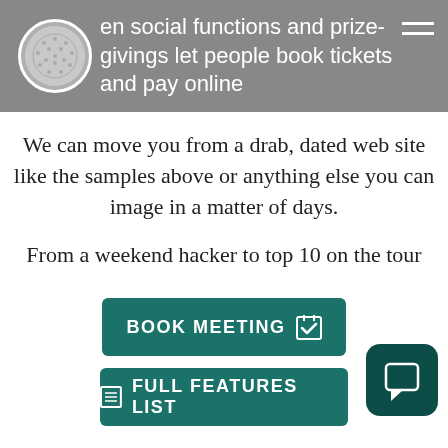en social functions and prize-givings let people book tickets and pay online
We can move you from a drab, dated web site like the samples above or anything else you can image in a matter of days.
From a weekend hacker to top 10 on the tour
[Figure (other): BOOK MEETING button with calendar icon]
[Figure (other): FULL FEATURES LIST button with list icon]